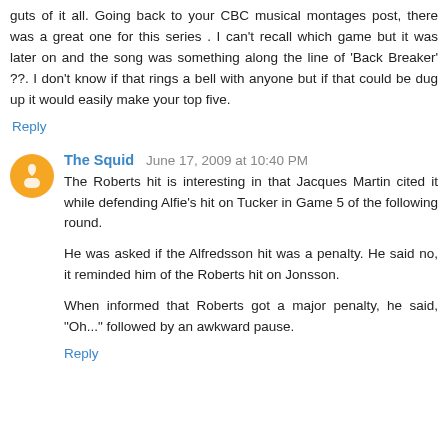guts of it all. Going back to your CBC musical montages post, there was a great one for this series . I can't recall which game but it was later on and the song was something along the line of 'Back Breaker' ??. I don't know if that rings a bell with anyone but if that could be dug up it would easily make your top five.
Reply
The Squid  June 17, 2009 at 10:40 PM
The Roberts hit is interesting in that Jacques Martin cited it while defending Alfie's hit on Tucker in Game 5 of the following round.
He was asked if the Alfredsson hit was a penalty. He said no, it reminded him of the Roberts hit on Jonsson.
When informed that Roberts got a major penalty, he said, "Oh..." followed by an awkward pause.
Reply